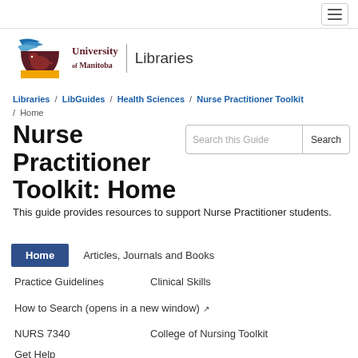University of Manitoba Libraries
[Figure (logo): University of Manitoba bison shield logo with blue swoosh and gold/yellow base]
Libraries / LibGuides / Health Sciences / Nurse Practitioner Toolkit / Home
Nurse Practitioner Toolkit: Home
This guide provides resources to support Nurse Practitioner students.
Home
Articles, Journals and Books
Practice Guidelines
Clinical Skills
How to Search (opens in a new window)
NURS 7340
College of Nursing Toolkit
Get Help